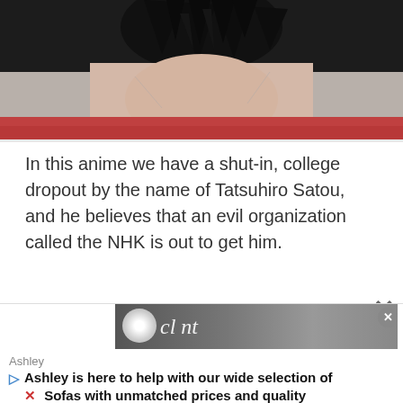[Figure (illustration): Cropped anime screenshot showing a character with dark spiky hair against a light background with reddish elements at the bottom]
In this anime we have a shut-in, college dropout by the name of Tatsuhiro Satou, and he believes that an evil organization called the NHK is out to get him.
[Figure (photo): Advertisement banner showing a dark textured background with a circular logo/badge and cursive text, with Ashley chatbot overlay saying 'Ashley is here to help with our wide selection of Sofas with unmatched prices and quality']